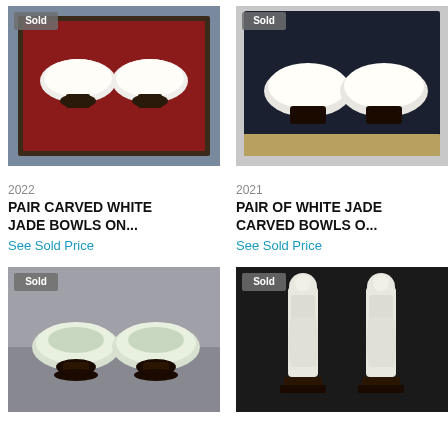[Figure (photo): Two white jade bowls on dark stands displayed in a red-lined box, with 'Sold' badge]
2022
PAIR CARVED WHITE JADE BOWLS ON...
See Sold Price
[Figure (photo): Two white jade bowls on dark stands in a dark box, with 'Sold' badge]
2021
PAIR OF WHITE JADE CARVED BOWLS O...
See Sold Price
[Figure (photo): Two pale celadon jade bowls on dark wooden stands against gray background, with 'Sold' badge]
[Figure (photo): Two white jade carved female figurines on dark bases against dark background, with 'Sold' badge]